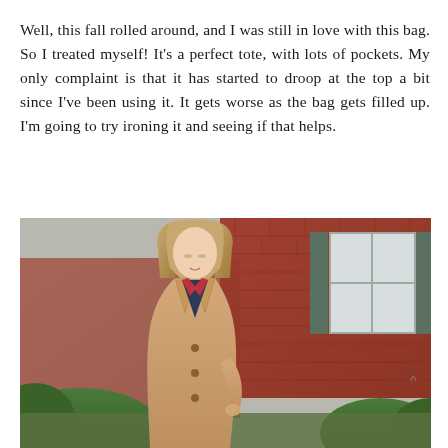Well, this fall rolled around, and I was still in love with this bag. So I treated myself! It's a perfect tote, with lots of pockets. My only complaint is that it has started to droop at the top a bit since I've been using it. It gets worse as the bag gets filled up. I'm going to try ironing it and seeing if that helps.
[Figure (photo): A young woman with long blonde hair wearing a tan/camel trench coat over a navy outfit with a pink/red scarf, looking down. She is standing in front of a red brick building with dark shuttered windows and green shrubbery.]